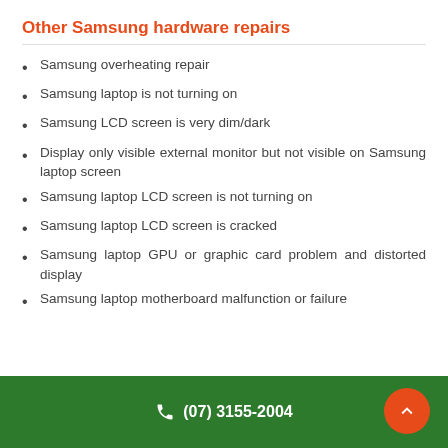Other Samsung hardware repairs
Samsung overheating repair
Samsung laptop is not turning on
Samsung LCD screen is very dim/dark
Display only visible external monitor but not visible on Samsung laptop screen
Samsung laptop LCD screen is not turning on
Samsung laptop LCD screen is cracked
Samsung laptop GPU or graphic card problem and distorted display
Samsung laptop motherboard malfunction or failure
(07) 3155-2004